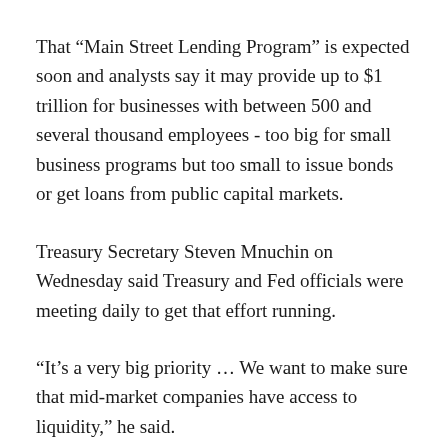That “Main Street Lending Program” is expected soon and analysts say it may provide up to $1 trillion for businesses with between 500 and several thousand employees - too big for small business programs but too small to issue bonds or get loans from public capital markets.
Treasury Secretary Steven Mnuchin on Wednesday said Treasury and Fed officials were meeting daily to get that effort running.
“It’s a very big priority … We want to make sure that mid-market companies have access to liquidity,” he said.